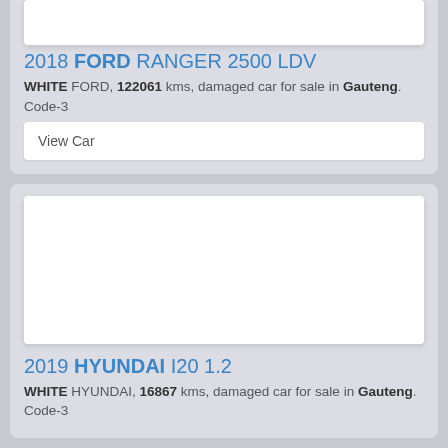[Figure (photo): Car photo placeholder (white rectangle) - top card image, partially visible]
2018 FORD RANGER 2500 LDV
WHITE FORD, 122061 kms, damaged car for sale in Gauteng. Code-3
View Car
[Figure (photo): Car photo placeholder (white rectangle) - second card image]
2019 HYUNDAI I20 1.2
WHITE HYUNDAI, 16867 kms, damaged car for sale in Gauteng. Code-3